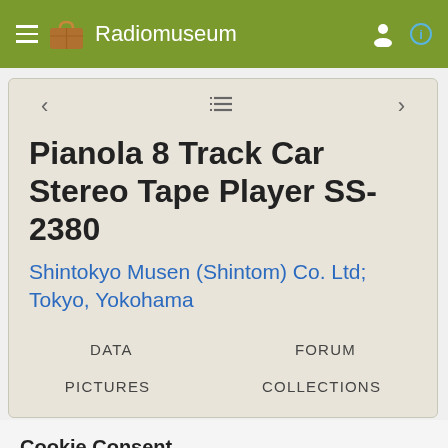Radiomuseum
Pianola 8 Track Car Stereo Tape Player SS-2380
Shintokyo Musen (Shintom) Co. Ltd; Tokyo, Yokohama
DATA
FORUM
PICTURES
COLLECTIONS
Cookie Consent
Radiomuseum.org uses essential cookies to ensure its proper operation. Tracking and advertising cookies